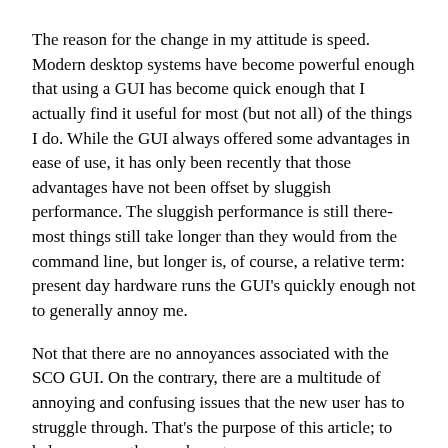The reason for the change in my attitude is speed. Modern desktop systems have become powerful enough that using a GUI has become quick enough that I actually find it useful for most (but not all) of the things I do. While the GUI always offered some advantages in ease of use, it has only been recently that those advantages have not been offset by sluggish performance. The sluggish performance is still there- most things still take longer than they would from the command line, but longer is, of course, a relative term: present day hardware runs the GUI's quickly enough not to generally annoy me.
Not that there are no annoyances associated with the SCO GUI. On the contrary, there are a multitude of annoying and confusing issues that the new user has to struggle through. That's the purpose of this article; to help you over the rough spots.
It doesn't work at all!